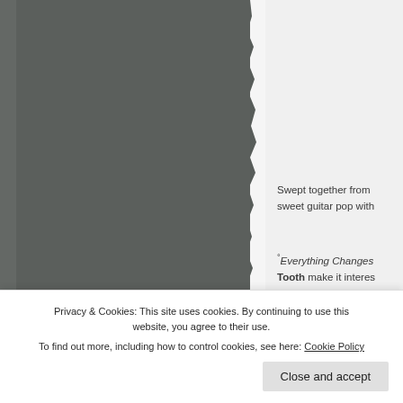[Figure (photo): Dark grey/slate colored background image panel on the left side of the page, with a torn paper edge effect on the right side.]
Swept together from sweet guitar pop with
°Everything Changes ... Tooth make it interes
Privacy & Cookies: This site uses cookies. By continuing to use this website, you agree to their use.
To find out more, including how to control cookies, see here: Cookie Policy
Close and accept